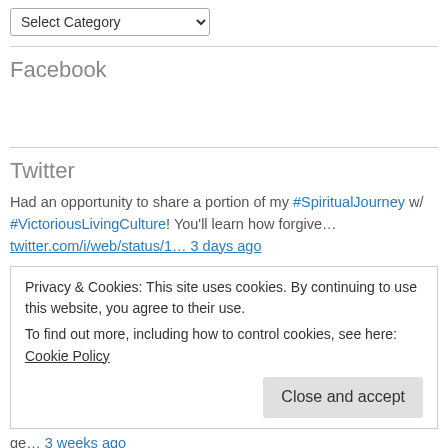[Figure (screenshot): Dropdown select element labeled 'Select Category' with a chevron arrow]
Facebook
Twitter
Had an opportunity to share a portion of my #SpiritualJourney w/ #VictoriousLivingCulture! You'll learn how forgive…
twitter.com/i/web/status/1… 3 days ago
Privacy & Cookies: This site uses cookies. By continuing to use this website, you agree to their use.
To find out more, including how to control cookies, see here: Cookie Policy
ge… 3 weeks ago